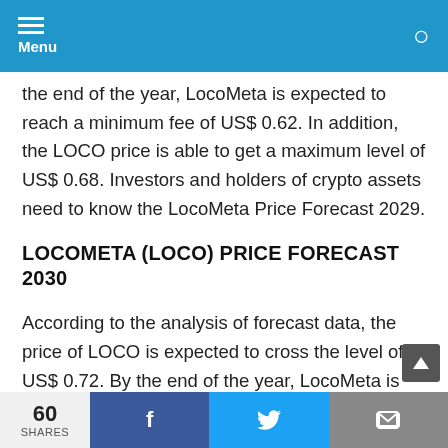Menu
the end of the year, LocoMeta is expected to reach a minimum fee of US$ 0.62. In addition, the LOCO price is able to get a maximum level of US$ 0.68. Investors and holders of crypto assets need to know the LocoMeta Price Forecast 2029.
LOCOMETA (LOCO) PRICE FORECAST 2030
According to the analysis of forecast data, the price of LOCO is expected to cross the level of US$ 0.72. By the end of the year, LocoMeta is expected to reach a
60 SHARES